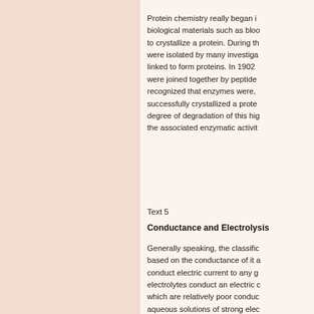Protein chemistry really began in biological materials such as blood to crystallize a protein. During the were isolated by many investigators linked to form proteins. In 1902 were joined together by peptide recognized that enzymes were, successfully crystallized a prote degree of degradation of this hig the associated enzymatic activit
Text 5
Conductance and Electrolysis
Generally speaking, the classific based on the conductance of it a conduct electric current to any g electrolytes conduct an electric which are relatively poor conduc aqueous solutions of strong elec formed as a result of a chemical resulting solution increases. If th insoluble precipitate, the conduc